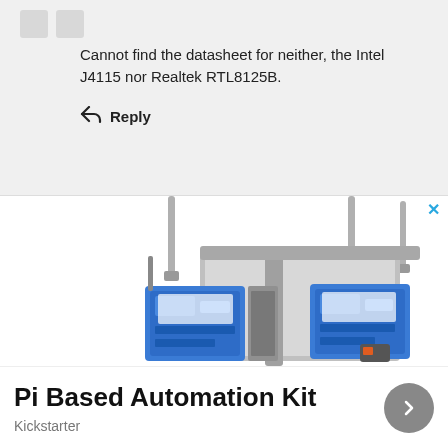Cannot find the datasheet for neither, the Intel J4115 nor Realtek RTL8125B.
↩ Reply
[Figure (photo): Advertisement showing Pi Based Automation Kit hardware with Raspberry Pi boards and antennas mounted on a frame, from Kickstarter]
Pi Based Automation Kit
Kickstarter